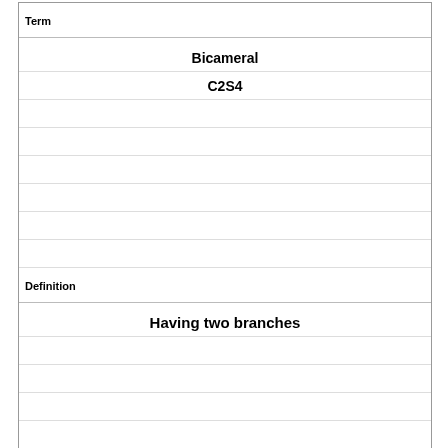| Term |
| --- |
| Bicameral
C2S4 |
|  |
|  |
|  |
|  |
|  |
|  |
|  |
| Definition |
| --- |
| Having two branches |
|  |
|  |
|  |
|  |
|  |
|  |
|  |